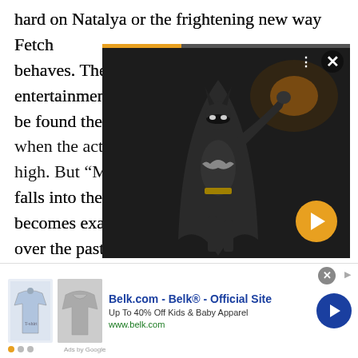hard on Natalya or the frightening new way Fetch behaves. There's definitely some entertainment value to be found there, especially when the action is running high. But "Mad" falls into the same trap and becomes exactly what it becomes over the past 20 years and to have a tea party about it. You'll h final chapter be And to add insult to injury, we do have Batman referring
[Figure (screenshot): A video overlay showing a Batman figurine/action figure in a dark scene. The overlay has a progress bar at the top with orange filled portion, three-dots menu and X close button in the top right, and an orange circular play/next button with a right arrow at the bottom right.]
[Figure (screenshot): An advertisement banner for Belk.com showing 'Belk® - Official Site', 'Up To 40% Off Kids & Baby Apparel', www.belk.com, with two product images of kids clothing and a blue circular next button. Navigation dots shown at bottom left.]